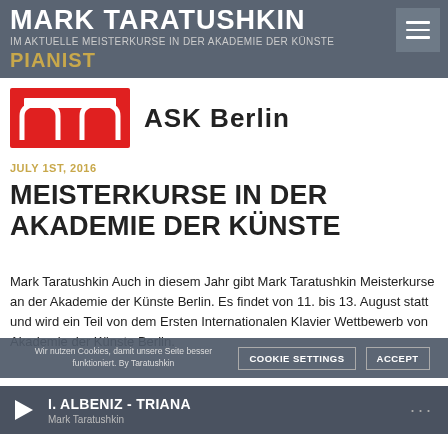MARK TARATUSHKIN PIANIST — IM AKTUELLE MEISTERKURSE IN DER AKADEMIE DER KÜNSTE
[Figure (logo): ASK Berlin logo: red rectangle with white arch shapes, followed by bold text 'ASK Berlin']
JULY 1ST, 2016
MEISTERKURSE IN DER AKADEMIE DER KÜNSTE
Mark Taratushkin Auch in diesem Jahr gibt Mark Taratushkin Meisterkurse an der Akademie der Künste Berlin. Es findet von 11. bis 13. August statt und wird ein Teil von dem Ersten Internationalen Klavier Wettbewerb von Akademie der Künste Berlin.
Bewerbungsformulare und weitere Informationen sind auf der Webseite der Akademie zu finden.